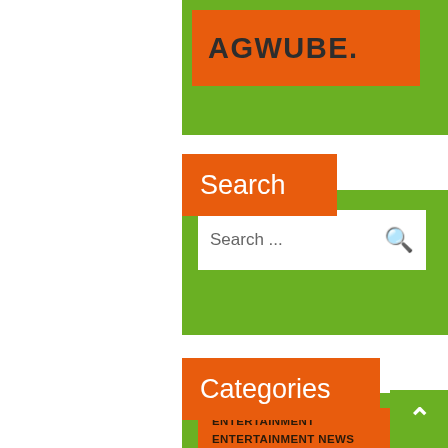AGWUBE.
Search
[Figure (other): Search bar with placeholder text 'Search ...' and an orange magnifying glass icon]
Categories
ENTERTAINMENT
ENTERTAINMENT NEWS
LIFESTYLE
MUSIC